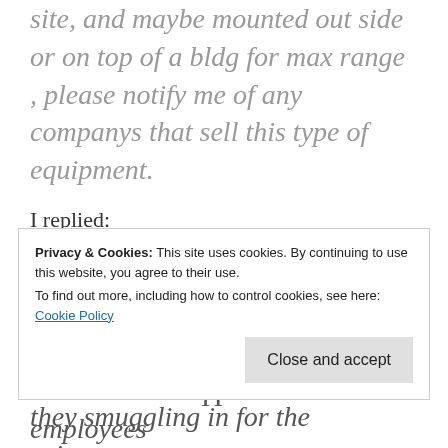site, and maybe mounted out side or on top of a bldg for max range , please notify me of any companys that sell this type of equipment.
I replied:
My first thought is that the officers and employees are breaking the law and need to be prosecuted. What other items are they smuggling in for the prisoners, weapons, money, heroin, crack, arresting the law
Privacy & Cookies: This site uses cookies. By continuing to use this website, you agree to their use.
To find out more, including how to control cookies, see here: Cookie Policy
authorities don∏t care about their employees